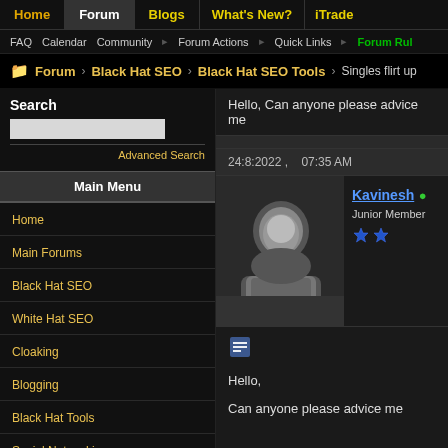Home | Forum | Blogs | What's New? | iTrade
FAQ  Calendar  Community  Forum Actions  Quick Links  Forum Rules
Forum > Black Hat SEO > Black Hat SEO Tools > Singles flirt up
Search
Advanced Search
Main Menu
Home
Main Forums
Black Hat SEO
White Hat SEO
Cloaking
Blogging
Black Hat Tools
Social Networking
Hello, Can anyone please advice me
24:8:2022 ,   07:35 AM
Kavinesh • Junior Member
Hello,

Can anyone please advice me